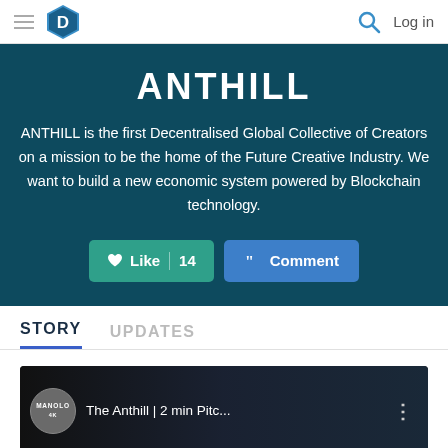D  Log in
ANTHILL
ANTHILL is the first Decentralised Global Collective of Creators on a mission to be the home of the Future Creative Industry. We want to build a new economic system powered by Blockchain technology.
Like 14  Comment
STORY  UPDATES
[Figure (screenshot): Dark video thumbnail showing MANOLO avatar and title: The Anthill | 2 min Pitc... with three-dot menu icon]